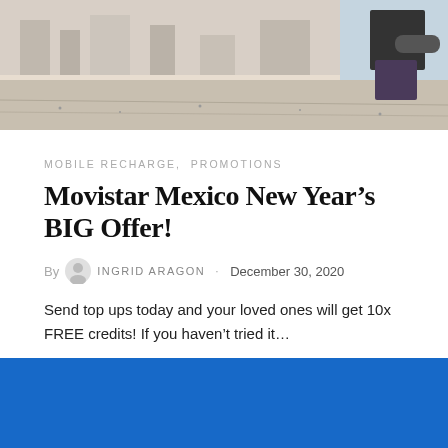[Figure (photo): Top portion of a photo showing a person sitting, partial view of body and outdoor/street setting with blurred background]
MOBILE RECHARGE,  PROMOTIONS
Movistar Mexico New Year's BIG Offer!
By INGRID ARAGON · December 30, 2020
Send top ups today and your loved ones will get 10x FREE credits! If you haven't tried it...
[Figure (other): Blue rectangle block at bottom of page]